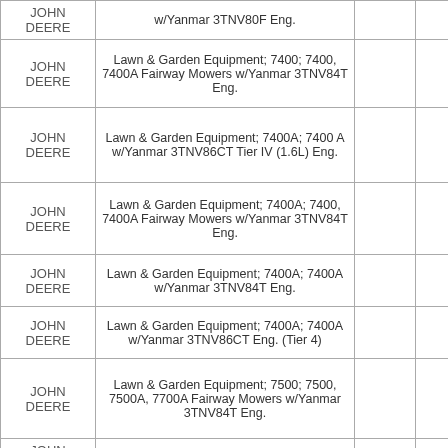| Make | Description |  |  |
| --- | --- | --- | --- |
| JOHN DEERE | w/Yanmar 3TNV80F Eng. |  |  |
| JOHN DEERE | Lawn & Garden Equipment; 7400; 7400, 7400A Fairway Mowers w/Yanmar 3TNV84T Eng. |  |  |
| JOHN DEERE | Lawn & Garden Equipment; 7400A; 7400 A w/Yanmar 3TNV86CT Tier IV (1.6L) Eng. |  |  |
| JOHN DEERE | Lawn & Garden Equipment; 7400A; 7400, 7400A Fairway Mowers w/Yanmar 3TNV84T Eng. |  |  |
| JOHN DEERE | Lawn & Garden Equipment; 7400A; 7400A w/Yanmar 3TNV84T Eng. |  |  |
| JOHN DEERE | Lawn & Garden Equipment; 7400A; 7400A w/Yanmar 3TNV86CT Eng. (Tier 4) |  |  |
| JOHN DEERE | Lawn & Garden Equipment; 7500; 7500, 7500A, 7700A Fairway Mowers w/Yanmar 3TNV84T Eng. |  |  |
| JOHN DEERE |  |  |  |